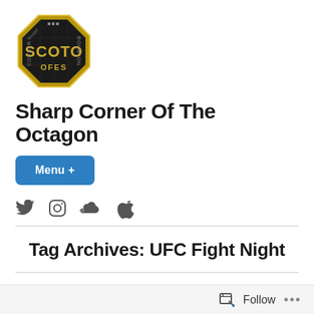[Figure (logo): Sharp Corner Of The Octagon octagonal logo with gold text SCOTO on dark background with chain-link fence texture]
Sharp Corner Of The Octagon
Menu +
[Figure (other): Social media icons: Twitter bird, Instagram circle, SoundCloud waves, Apple logo]
Tag Archives: UFC Fight Night
Follow ...